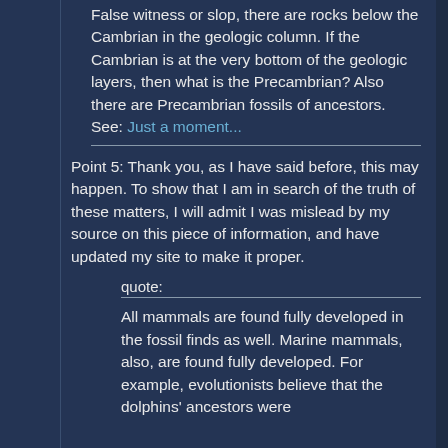False witness or slop, there are rocks below the Cambrian in the geologic column. If the Cambrian is at the very bottom of the geologic layers, then what is the Precambrian? Also there are Precambrian fossils of ancestors. See: Just a moment...
Point 5: Thank you, as I have said before, this may happen. To show that I am in search of the truth of these matters, I will admit I was mislead by my source on this piece of information, and have updated my site to make it proper.
quote:
All mammals are found fully developed in the fossil finds as well. Marine mammals, also, are found fully developed. For example, evolutionists believe that the dolphins' ancestors were